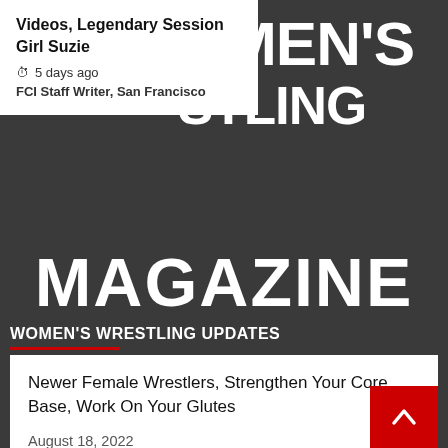[Figure (screenshot): Dark gray background for magazine website header]
Videos, Legendary Session Girl Suzie
5 days ago  FCI Staff Writer, San Francisco
OMEN'S STLING
MAGAZINE
WOMEN'S WRESTLING UPDATES
Newer Female Wrestlers, Strengthen Your Core Base, Work On Your Glutes
August 18, 2022
New Female Grapplers, Perfect Brazilian Jiu-Jitsu, Best Take Downs, Submissions
August 17, 2022
News Aug 15-16, 2022, Antscha's New Event Videos, Legendary Session Girl Suzie